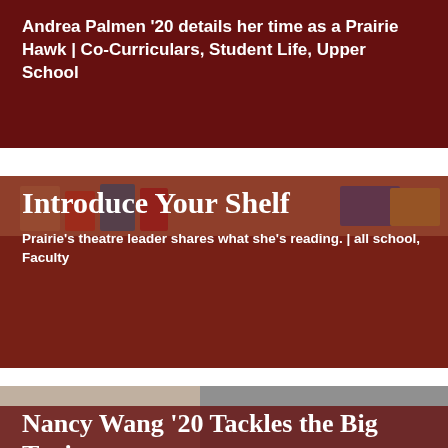[Figure (photo): Red/dark maroon background with photo overlay. Card with text about Andrea Palmen.]
Andrea Palmen '20 details her time as a Prairie Hawk | Co-Curriculars, Student Life, Upper School
[Figure (photo): Photo of theatre/library area with shelves and signs, overlaid with dark red tint.]
Introduce Your Shelf
Prairie's theatre leader shares what she's reading. | all school, Faculty
[Figure (photo): Photo of students including Nancy Wang, in a school hallway or classroom setting.]
Nancy Wang '20 Tackles the Big Topics